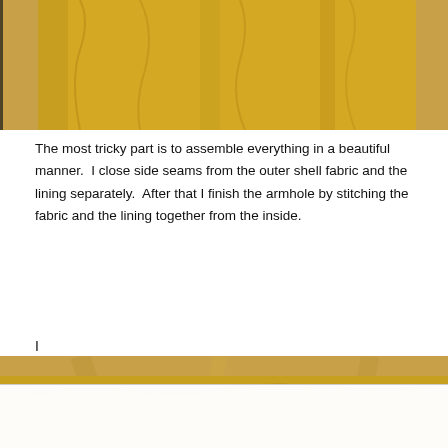[Figure (photo): Top portion of a yellow/mustard fabric garment hanging against a wooden background]
The most tricky part is to assemble everything in a beautiful manner.  I close side seams from the outer shell fabric and the lining separately.  After that I finish the armhole by stitching the fabric and the lining together from the inside.
I
[Figure (photo): Bottom portion of a yellow/mustard fabric garment, showing gathered/stitched seam detail against a wooden background]
Privacy & Cookies: This site uses cookies. By continuing to use this website, you agree to their use.
To find out more, including how to control cookies, see here: Cookie Policy